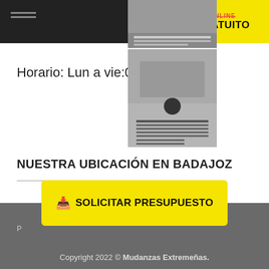ONLINE GRATUITO
[Figure (photo): Two thumbnail images of a moving truck/warehouse, stacked vertically, overlapping the header and horario section]
Horario: Lun a vie... 00
NUESTRA UBICACIÓN EN BADAJOZ
[Figure (map): Empty white area representing a map embed placeholder for Badajoz location]
SOLICITAR PRESUPUESTO
Copyright 2022 © Mudanzas Extremeñas.